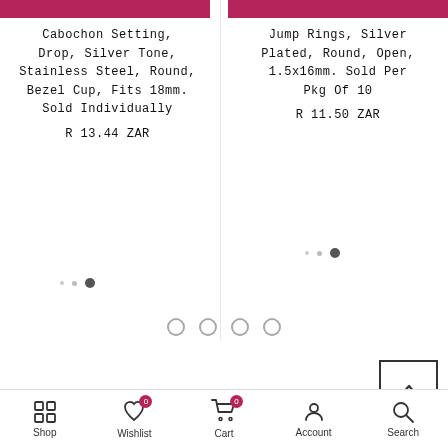Cabochon Setting, Drop, Silver Tone, Stainless Steel, Round, Bezel Cup, Fits 18mm. Sold Individually
R 13.44 ZAR
Jump Rings, Silver Plated, Round, Open, 1.5x16mm. Sold Per Pkg Of 10
R 11.50 ZAR
Shop | Wishlist 0 | Cart 0 | Account | Search